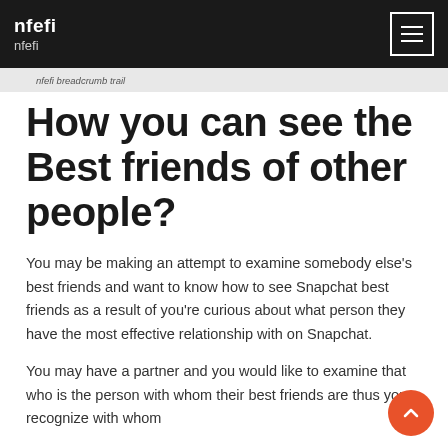nfefi
nfefi
nfefi breadcrumb trail
How you can see the Best friends of other people?
You may be making an attempt to examine somebody else's best friends and want to know how to see Snapchat best friends as a result of you're curious about what person they have the most effective relationship with on Snapchat.
You may have a partner and you would like to examine that who is the person with whom their best friends are thus you recognize with whom